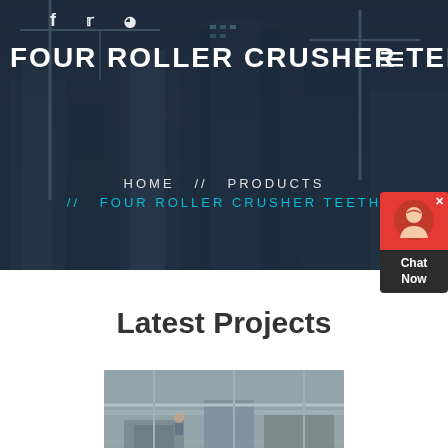FOUR ROLLER CRUSHER TEETH
[Figure (photo): Construction site background with cranes and buildings under a dark overlay]
HOME  //  PRODUCTS  //  FOUR ROLLER CRUSHER TEETH
[Figure (other): Chat Now customer support widget with avatar icon]
Latest Projects
[Figure (photo): Industrial machinery or construction equipment project image]